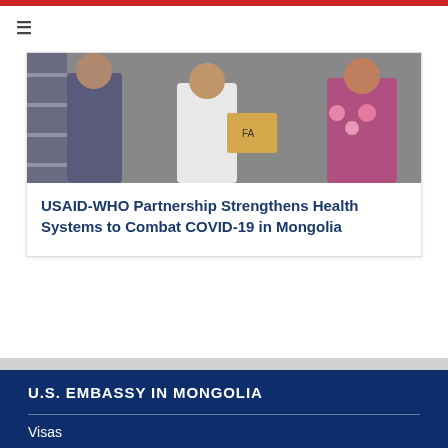≡
[Figure (photo): People standing indoors, including someone in medical/white coat and others near boxes or supplies, likely a donation or health supply handover event.]
USAID-WHO Partnership Strengthens Health Systems to Combat COVID-19 in Mongolia
U.S. EMBASSY IN MONGOLIA
Visas
U.S. Citizen Services
Our Relationship